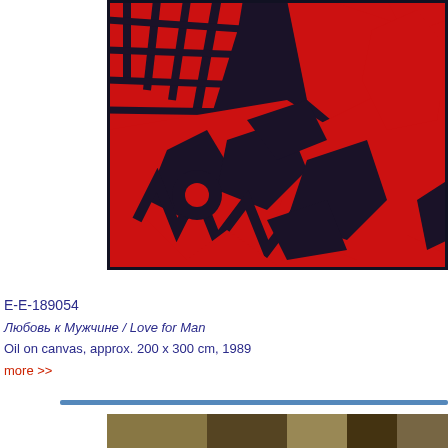[Figure (photo): Painting detail showing bold red and black graphic figures on canvas — gestural forms of human figures and geometric/grid patterns in red against a dark navy/black background.]
E-E-189054
Любовь к Мужчине / Love for Man
Oil on canvas, approx. 200 x 300 cm, 1989
more >>
[Figure (photo): Bottom portion of another artwork image, partially visible.]